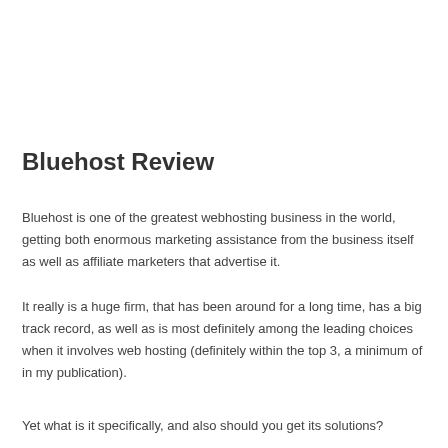Bluehost Review
Bluehost is one of the greatest webhosting business in the world, getting both enormous marketing assistance from the business itself as well as affiliate marketers that advertise it.
It really is a huge firm, that has been around for a long time, has a big track record, as well as is most definitely among the leading choices when it involves web hosting (definitely within the top 3, a minimum of in my publication).
Yet what is it specifically, and also should you get its solutions?